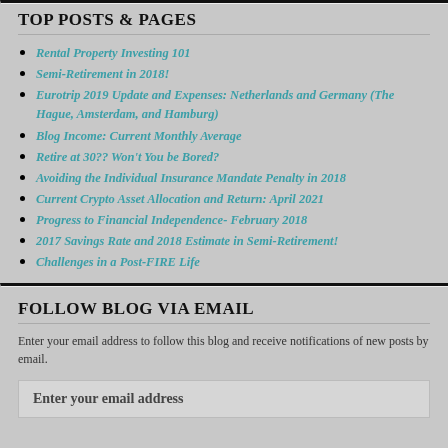TOP POSTS & PAGES
Rental Property Investing 101
Semi-Retirement in 2018!
Eurotrip 2019 Update and Expenses: Netherlands and Germany (The Hague, Amsterdam, and Hamburg)
Blog Income: Current Monthly Average
Retire at 30?? Won't You be Bored?
Avoiding the Individual Insurance Mandate Penalty in 2018
Current Crypto Asset Allocation and Return: April 2021
Progress to Financial Independence- February 2018
2017 Savings Rate and 2018 Estimate in Semi-Retirement!
Challenges in a Post-FIRE Life
FOLLOW BLOG VIA EMAIL
Enter your email address to follow this blog and receive notifications of new posts by email.
Enter your email address